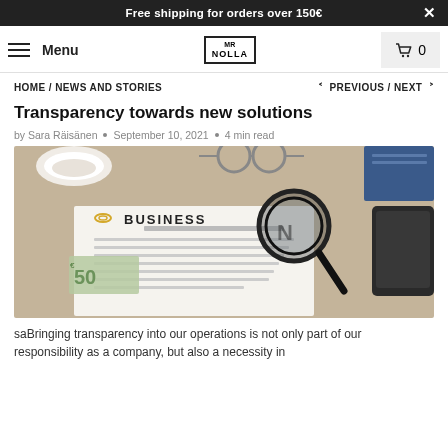Free shipping for orders over 150€
Menu | Logo: Mr Nolla | Cart: 0
HOME / NEWS AND STORIES   < PREVIOUS / NEXT >
Transparency towards new solutions
by Sara Räisänen • September 10, 2021 • 4 min read
[Figure (photo): A business document with magnifying glass, coffee cup, glasses, money and a notebook on a wooden table.]
saBringing transparency into our operations is not only part of our responsibility as a company, but also a necessity in